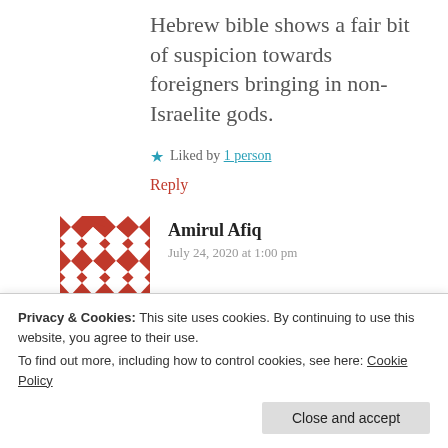Hebrew bible shows a fair bit of suspicion towards foreigners bringing in non-Israelite gods.
★ Liked by 1 person
Reply
[Figure (illustration): Red and white geometric pattern avatar for user Amirul Afiq]
Amirul Afiq
July 24, 2020 at 1:00 pm
Assalamualaikum akhi I need your help with verse 6:146 of
Privacy & Cookies: This site uses cookies. By continuing to use this website, you agree to their use.
To find out more, including how to control cookies, see here: Cookie Policy
Close and accept